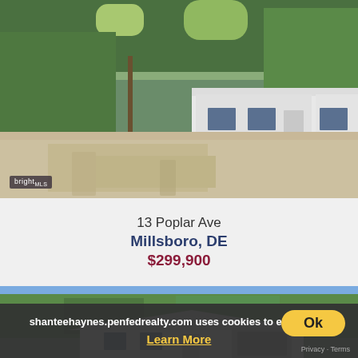[Figure (photo): Exterior photo of a white manufactured/mobile home on a gravel lot surrounded by trees. Bright MLS watermark in lower-left corner.]
13 Poplar Ave
Millsboro, DE
$299,900
[Figure (photo): Exterior photo of a white single-family home with tree line in background, partially obscured by cookie banner.]
shanteehaynes.penfedrealty.com uses cookies to ensure the
Learn More
Ok
Privacy - Terms